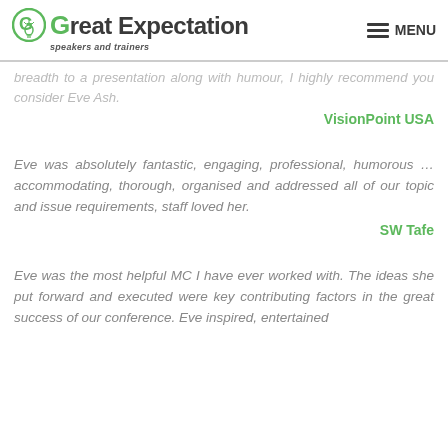Great Expectation speakers and trainers | MENU
breadth to a presentation along with humour, I highly recommend you consider Eve Ash.
VisionPoint USA
Eve was absolutely fantastic, engaging, professional, humorous ... accommodating, thorough, organised and addressed all of our topic and issue requirements, staff loved her.
SW Tafe
Eve was the most helpful MC I have ever worked with. The ideas she put forward and executed were key contributing factors in the great success of our conference. Eve inspired, entertained